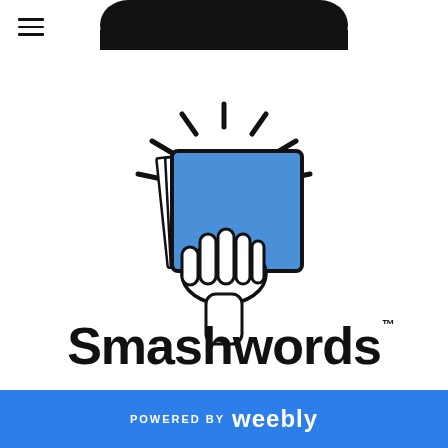[Figure (logo): Smashwords logo: a hand holding a stack of pages/book with rays emanating, above the text 'Smashwords' in a rounded black font with TM mark]
POWERED BY weebly